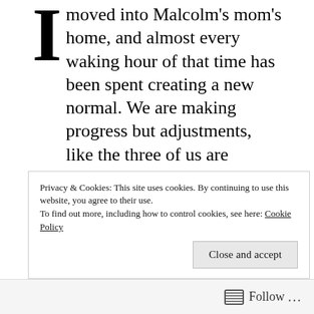I moved into Malcolm's mom's home, and almost every waking hour of that time has been spent creating a new normal. We are making progress but adjustments, like the three of us are making, require compromise, patience and time.
When we considered a ‘shared residence’ with Malcolm’s mom we were prepared for the physical adjustment of living in a smaller space and the changes that would follow. We strongly considered the disruption to her life but felt that the eventual upside would make it worthwhile. What we
Privacy & Cookies: This site uses cookies. By continuing to use this website, you agree to their use. To find out more, including how to control cookies, see here: Cookie Policy
Close and accept
Follow